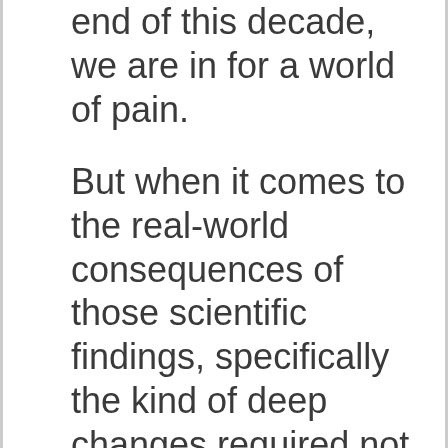end of this decade, we are in for a world of pain.
But when it comes to the real-world consequences of those scientific findings, specifically the kind of deep changes required not just to our energy consumption but to the underlying logic of our economic system, the crowd gathered at the Marriott Hotel may be in